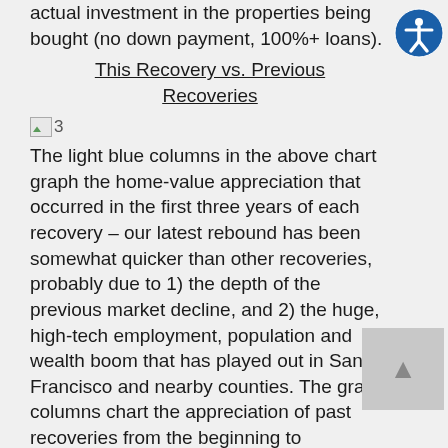actual investment in the properties being bought (no down payment, 100%+ loans).
This Recovery vs. Previous Recoveries
[Figure (other): Broken image placeholder labeled '3']
The light blue columns in the above chart graph the home-value appreciation that occurred in the first three years of each recovery – our latest rebound has been somewhat quicker than other recoveries, probably due to 1) the depth of the previous market decline, and 2) the huge, high-tech employment, population and wealth boom that has played out in San Francisco and nearby counties. The gray columns chart the appreciation of past recoveries from the beginning to